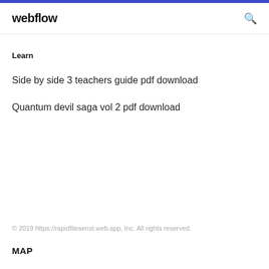webflow
Learn
Side by side 3 teachers guide pdf download
Quantum devil saga vol 2 pdf download
© 2019 https://rapidfilesenst.web.app, Inc. All rights reserved.
MAP